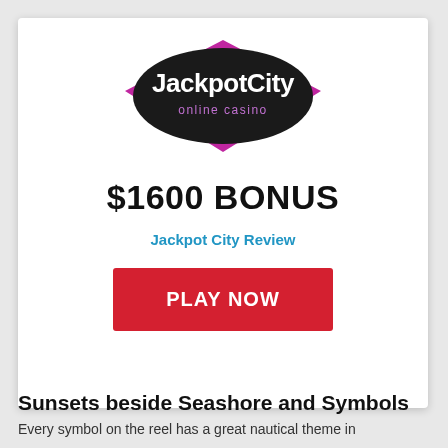[Figure (logo): JackpotCity online casino logo — black diamond shape with purple border, white text 'JackpotCity' and smaller text 'online casino']
$1600 BONUS
Jackpot City Review
PLAY NOW
Sunsets beside Seashore and Symbols
Every symbol on the reel has a great nautical theme in